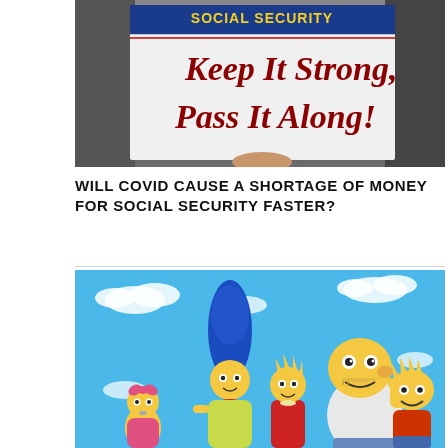[Figure (photo): Protest sign reading 'Social Security Keep It Strong, Pass It Along!' held by a person at a rally, with people visible in the background]
WILL COVID CAUSE A SHORTAGE OF MONEY FOR SOCIAL SECURITY FASTER?
[Figure (illustration): Animated illustration of the Simpsons family (Homer, Marge, Bart, Lisa, Maggie) on a blue sky background with white clouds]